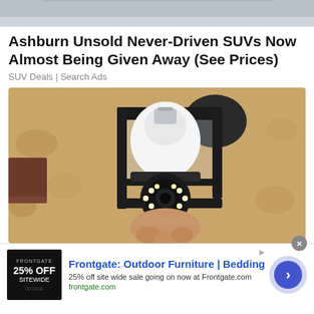[Figure (photo): Top cropped photo showing a partial view of a vehicle or gray surface]
Ashburn Unsold Never-Driven SUVs Now Almost Being Given Away (See Prices)
SUV Deals | Search Ads
[Figure (photo): Photo of a black outdoor lantern fixture with a white security camera bulb installed inside, mounted on a textured stucco wall, a hand is holding the camera bulb from below]
[Figure (photo): Advertisement banner for Frontgate: Outdoor Furniture | Bedding. Shows a dark thumbnail with '25% OFF SITEWIDE' text, ad title in blue, description text, and a green URL. Has a circular arrow navigation button on the right.]
Frontgate: Outdoor Furniture | Bedding
25% off site wide sale going on now at Frontgate.com
frontgate.com